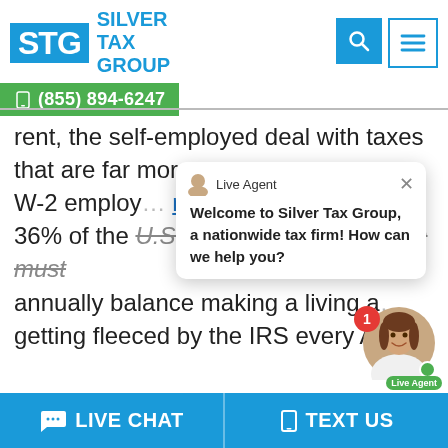[Figure (logo): Silver Tax Group logo with STG in blue box and company name in blue text]
(855) 894-6247
rent, the self-employed deal with taxes that are far mor... W-2 employ... million free... 36% of the U.S. workforce, all of whom must annually balance making a living a... getting fleeced by the IRS every April
Welcome to Silver Tax Group, a nationwide tax firm! How can we help you?
Freelancers, independent contractors,
LIVE CHAT   TEXT US